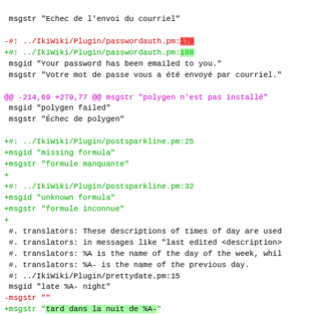Code diff showing gettext/po file changes for IkiWiki localization
msgstr "Echec de l'envoi du courriel"
-#: ../IkiWiki/Plugin/passwordauth.pm:170
+#: ../IkiWiki/Plugin/passwordauth.pm:188
 msgid "Your password has been emailed to you."
 msgstr "Votre mot de passe vous a été envoyé par courriel."
@@ -214,69 +279,77 @@ msgstr "polygen n'est pas installé"
 msgid "polygen failed"
 msgstr "Échec de polygen"
+#: ../IkiWiki/Plugin/postsparkline.pm:25
+msgid "missing formula"
+msgstr "formule manquante"
+
+#: ../IkiWiki/Plugin/postsparkline.pm:32
+msgid "unknown formula"
+msgstr "formule inconnue"
+
#. translators: These descriptions of times of day are used
 #. translators: in messages like "last edited <description>
 #. translators: %A is the name of the day of the week, whil
 #. translators: %A- is the name of the previous day.
 #: ../IkiWiki/Plugin/prettydate.pm:15
 msgid "late %A- night"
-msgstr ""
+msgstr "tard dans la nuit de %A-"
#: ../IkiWiki/Plugin/prettydate.pm:17
 msgid "in the wee hours of %A- night"
-msgstr ""
+msgstr "dans les premières heures de la nuit de %A-"